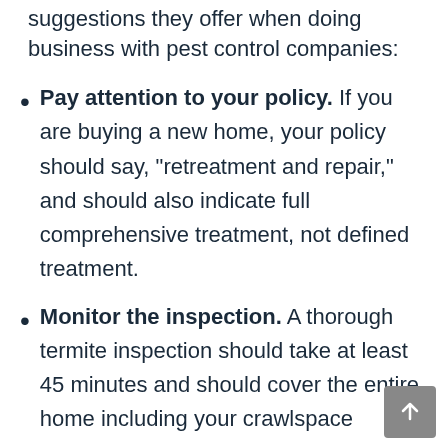suggestions they offer when doing business with pest control companies:
Pay attention to your policy. If you are buying a new home, your policy should say, “retreatment and repair,” and should also indicate full comprehensive treatment, not defined treatment.
Monitor the inspection. A thorough termite inspection should take at least 45 minutes and should cover the entire home including your crawlspace